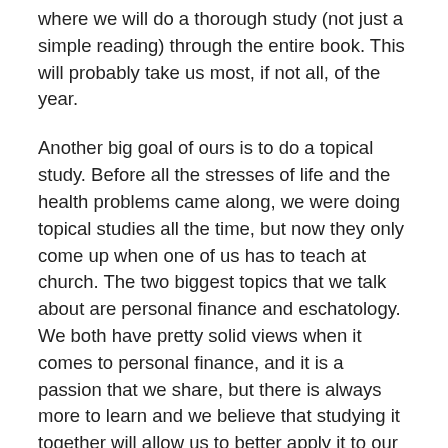where we will do a thorough study (not just a simple reading) through the entire book. This will probably take us most, if not all, of the year.
Another big goal of ours is to do a topical study. Before all the stresses of life and the health problems came along, we were doing topical studies all the time, but now they only come up when one of us has to teach at church. The two biggest topics that we talk about are personal finance and eschatology. We both have pretty solid views when it comes to personal finance, and it is a passion that we share, but there is always more to learn and we believe that studying it together will allow us to better apply it to our own lives and the lives of our clients.
As far as eschatology is concerned my position is